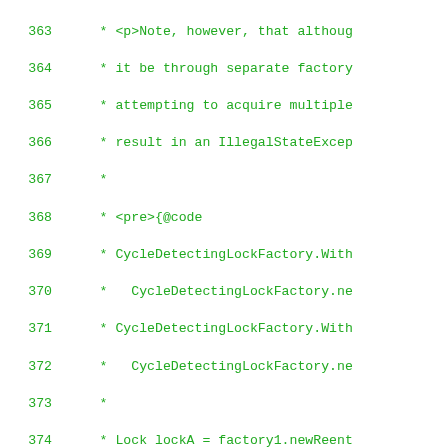Source code comment block, lines 363-391, showing Java Javadoc comment for CycleDetectingLockFactory with code example.